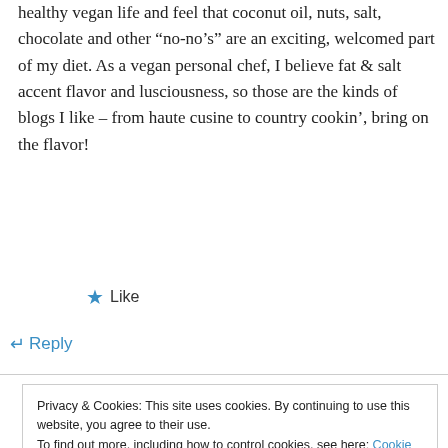healthy vegan life and feel that coconut oil, nuts, salt, chocolate and other “no-no’s” are an exciting, welcomed part of my diet. As a vegan personal chef, I believe fat & salt accent flavor and lusciousness, so those are the kinds of blogs I like – from haute cusine to country cookin’, bring on the flavor!
★ Like
↵ Reply
Privacy & Cookies: This site uses cookies. By continuing to use this website, you agree to their use.
To find out more, including how to control cookies, see here: Cookie Policy
Close and accept